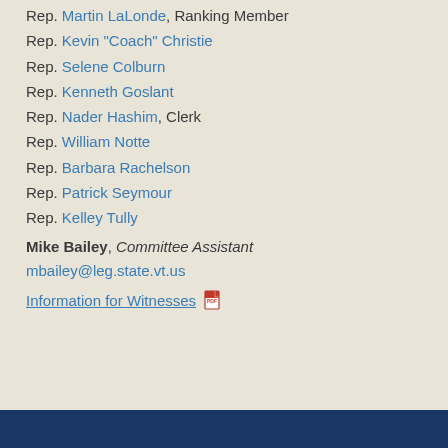Rep. Martin LaLonde, Ranking Member
Rep. Kevin "Coach" Christie
Rep. Selene Colburn
Rep. Kenneth Goslant
Rep. Nader Hashim, Clerk
Rep. William Notte
Rep. Barbara Rachelson
Rep. Patrick Seymour
Rep. Kelley Tully
Mike Bailey, Committee Assistant
mbailey@leg.state.vt.us
Information for Witnesses